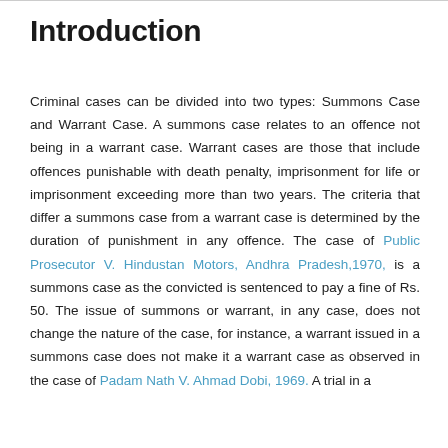Introduction
Criminal cases can be divided into two types: Summons Case and Warrant Case. A summons case relates to an offence not being in a warrant case. Warrant cases are those that include offences punishable with death penalty, imprisonment for life or imprisonment exceeding more than two years. The criteria that differ a summons case from a warrant case is determined by the duration of punishment in any offence. The case of Public Prosecutor V. Hindustan Motors, Andhra Pradesh,1970, is a summons case as the convicted is sentenced to pay a fine of Rs. 50. The issue of summons or warrant, in any case, does not change the nature of the case, for instance, a warrant issued in a summons case does not make it a warrant case as observed in the case of Padam Nath V. Ahmad Dobi, 1969. A trial in a